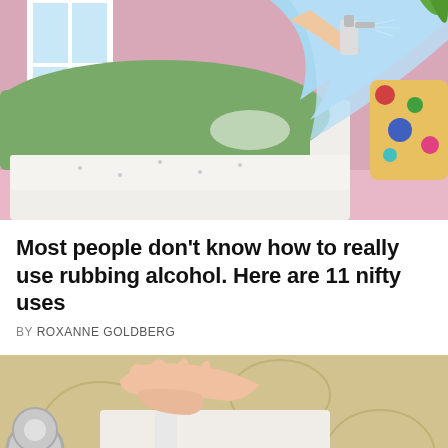[Figure (illustration): Illustrated image of a person in light blue clothing spraying a spray bottle onto a bed with a green mattress/bedding in a bedroom with pink walls and colorful pillows]
Most people don't know how to really use rubbing alcohol. Here are 11 nifty uses
BY ROXANNE GOLDBERG
[Figure (photo): Photo of a hand using a spray bottle and a cloth/paper to clean up dirt/dark debris from a patterned carpet or rug, with rolls of tape visible on the left]
© Remedy Daily   About Ads   Terms   Privacy   Do Not Sell My Info